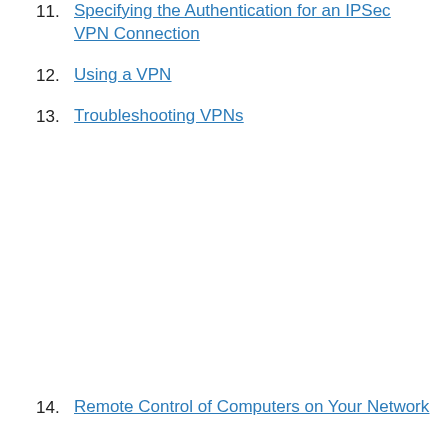11. Specifying the Authentication for an IPSec VPN Connection
12. Using a VPN
13. Troubleshooting VPNs
14. Remote Control of Computers on Your Network